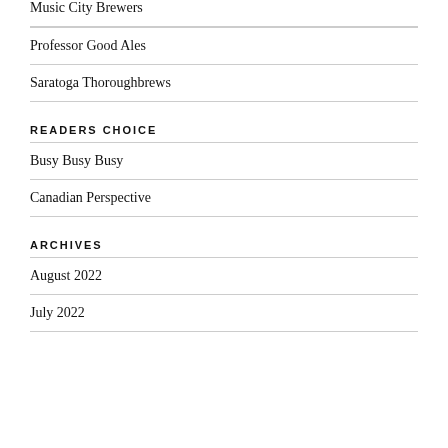Music City Brewers
Professor Good Ales
Saratoga Thoroughbrews
READERS CHOICE
Busy Busy Busy
Canadian Perspective
ARCHIVES
August 2022
July 2022